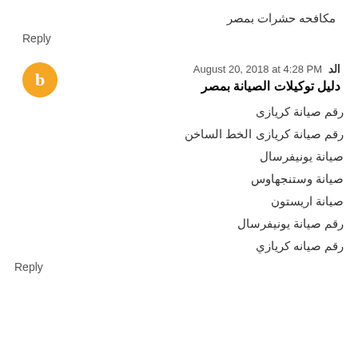مكافحه حشرات بمصر
Reply
الد  August 20, 2018 at 4:28 PM
دليل توكيلات الصيانة بمصر
رقم صيانة كريازى
رقم صيانة كريازى الخط الساخن
صيانة يونيفرسال
صيانة وستنجهاوس
صيانة اريستون
رقم صيانة يونيفرسال
رقم صيانه كريازي
Reply